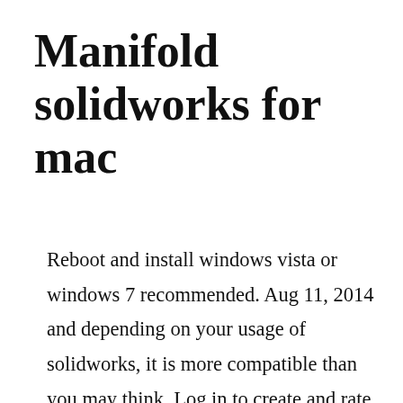Manifold solidworks for mac
Reboot and install windows vista or windows 7 recommended. Aug 11, 2014 and depending on your usage of solidworks, it is more compatible than you may think. Log in to create and rate content, and to follow, bookmark, and share content with other members. Solidworks tutorial engine exhaust